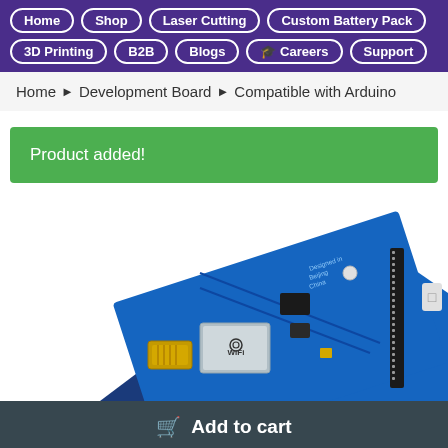Home | Shop | Laser Cutting | Custom Battery Pack | 3D Printing | B2B | Blogs | Careers | Support
Home > Development Board > Compatible with Arduino
Product added!
[Figure (photo): Close-up photo of a blue Arduino-compatible development board with ESP8266 WiFi module, labeled 'Designed in Beijing, China', with black header pins visible on the right edge]
Add to cart